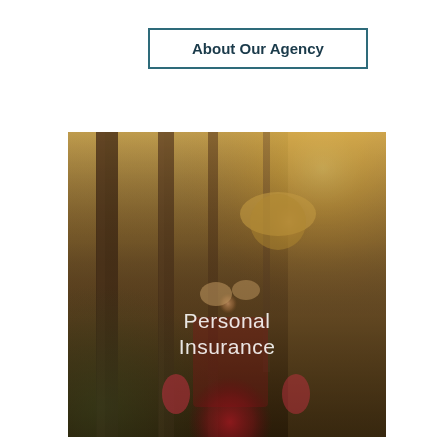About Our Agency
[Figure (photo): A father carrying a young child on his shoulders in a sunlit forest. The child is wearing a tan hat and reaching down over the father's face. The father is wearing a red plaid shirt. Text overlay reads 'Personal Insurance'.]
Personal Insurance